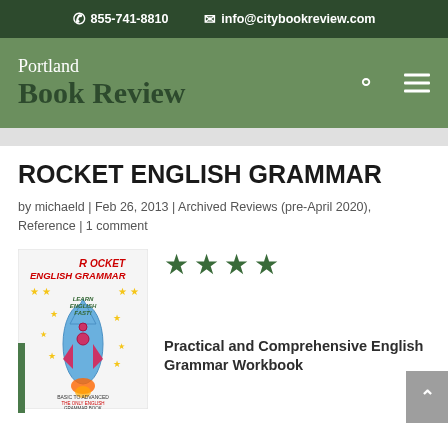855-741-8810   info@citybookreview.com
[Figure (logo): Portland Book Review logo with search and menu icons on green background]
ROCKET ENGLISH GRAMMAR
by michaeld | Feb 26, 2013 | Archived Reviews (pre-April 2020), Reference | 1 comment
[Figure (photo): Book cover of Rocket English Grammar by Carl M. Hart, showing a cartoon rocket with stars and text 'Learn English Fast!' and 'Basic to Advanced English Grammar in One Book']
[Figure (other): 4 dark green stars rating]
Practical and Comprehensive English Grammar Workbook